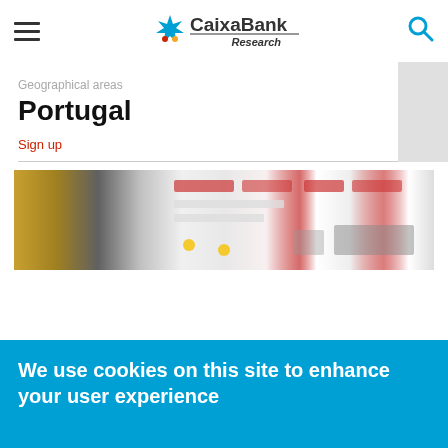CaixaBank Research
Geographical areas
Portugal
Sign up
[Figure (photo): Blurred close-up photo of a tablet or digital screen showing colorful content, possibly a news or shopping website]
We use cookies on this site to enhance your user experience